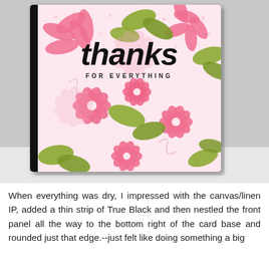[Figure (photo): A greeting card with a floral pattern featuring pink flowers and olive green leaves on a white/pink background. The card has a black spine strip on the left side. Text on the card reads 'thanks' in large bold italic script and 'FOR EVERYTHING' in spaced capital letters below. The card is propped upright against a white surface.]
When everything was dry, I impressed with the canvas/linen IP, added a thin strip of True Black and then nestled the front panel all the way to the bottom right of the card base and rounded just that edge.--just felt like doing something a big